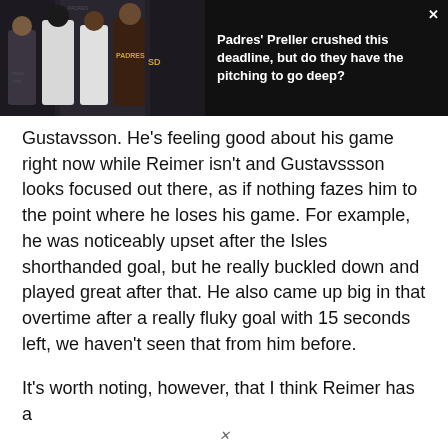[Figure (photo): Photo of four men posing at a Padres event in front of a branded backdrop, alongside a headline text block reading 'Padres' Preller crushed this deadline, but do they have the pitching to go deep?']
Gustavsson. He's feeling good about his game right now while Reimer isn't and Gustavssson looks focused out there, as if nothing fazes him to the point where he loses his game. For example, he was noticeably upset after the Isles shorthanded goal, but he really buckled down and played great after that. He also came up big in that overtime after a really fluky goal with 15 seconds left, we haven't seen that from him before.
It's worth noting, however, that I think Reimer has a